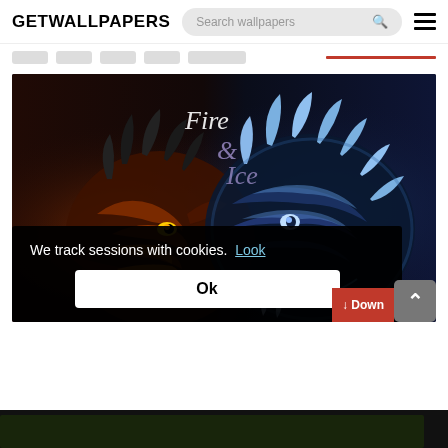GETWALLPAPERS
Search wallpapers
[Figure (screenshot): A website screenshot showing GETWALLPAPERS homepage with a Fire and Ice dragon wallpaper. Two dragons face each other — a red/orange fire dragon on the left and a blue ice dragon on the right — with 'Fire & Ice' text overlaid in stylized script. A black cookie consent banner overlays the bottom of the image reading 'We track sessions with cookies. Look' with an 'Ok' button. Partially visible Download and scroll-to-top buttons appear at bottom right.]